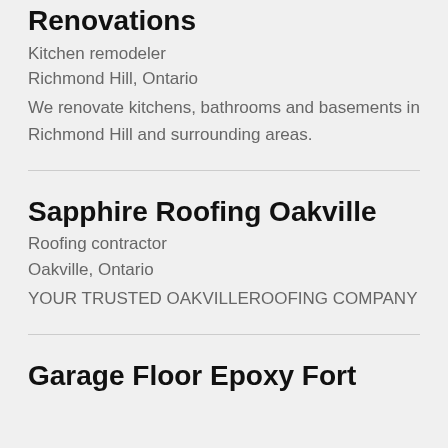Renovations
Kitchen remodeler
Richmond Hill, Ontario
We renovate kitchens, bathrooms and basements in Richmond Hill and surrounding areas.
Sapphire Roofing Oakville
Roofing contractor
Oakville, Ontario
YOUR TRUSTED OAKVILLEROOFING COMPANY
Garage Floor Epoxy Fort